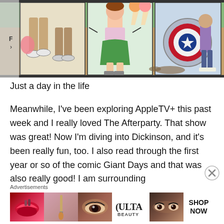[Figure (illustration): Comic book style illustration showing figures in action — a girl in a green skirt and sneakers appears to be fighting or moving dynamically near what looks like Captain America's shield, with ice cream cone imagery on panels in the background.]
Just a day in the life
Meanwhile, I've been exploring AppleTV+ this past week and I really loved The Afterparty. That show was great! Now I'm diving into Dickinson, and it's been really fun, too. I also read through the first year or so of the comic Giant Days and that was also really good! I am surrounding
[Figure (illustration): ULTA Beauty advertisement banner showing close-up beauty/makeup photos — lips with red lipstick, a makeup brush, an eye, ULTA Beauty logo, eyes with makeup — with a 'SHOP NOW' call to action on white background.]
Advertisements